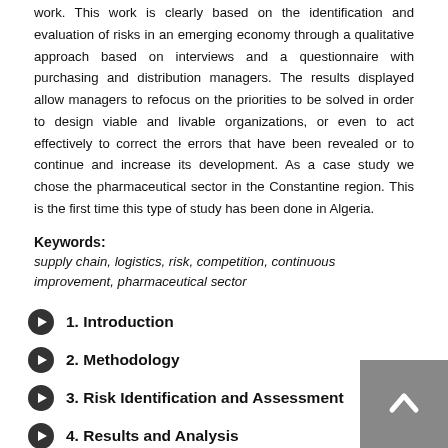work. This work is clearly based on the identification and evaluation of risks in an emerging economy through a qualitative approach based on interviews and a questionnaire with purchasing and distribution managers. The results displayed allow managers to refocus on the priorities to be solved in order to design viable and livable organizations, or even to act effectively to correct the errors that have been revealed or to continue and increase its development. As a case study we chose the pharmaceutical sector in the Constantine region. This is the first time this type of study has been done in Algeria.
Keywords:
supply chain, logistics, risk, competition, continuous improvement, pharmaceutical sector
1. Introduction
2. Methodology
3. Risk Identification and Assessment
4. Results and Analysis
5. Recommendations and Risk Mitigation Strategy